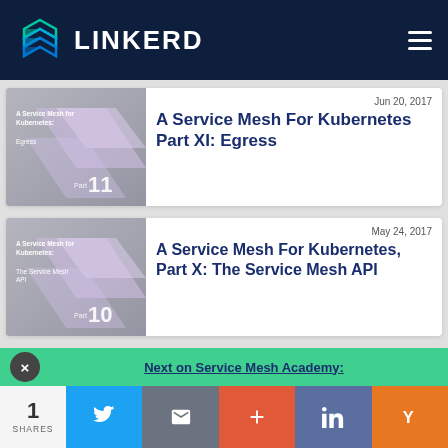[Figure (logo): Linkerd logo with teal geometric icon and white LINKERD text on dark navy header]
[Figure (screenshot): Thumbnail image for blog post: A Service Mesh for Kubernetes Part XI Egress - gray gradient with diagonal colorful stripe, Part 11 label]
Jun 20, 2017
A Service Mesh For Kubernetes Part XI: Egress
[Figure (screenshot): Thumbnail image for blog post: A Service Mesh for Kubernetes Part X The Service Mesh API - gray gradient with diagonal colorful stripe, Part 10 label]
May 24, 2017
A Service Mesh For Kubernetes, Part X: The Service Mesh API
Next on Service Mesh Academy:
1
SHARES